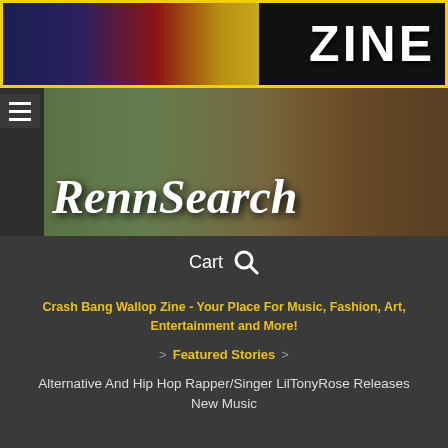[Figure (screenshot): Website banner with dark background, colored texture panels on left side and 'ZINE' text in white bold font on right, surrounded by yellow border]
[Figure (screenshot): RennSearch banner image showing a Renaissance fair scene with buildings, crowd, and a woman in Renaissance costume, with 'RennSearch' text overlaid in white italic serif font]
Cart 🔍
Crash Bang Wallop Zine - Your Place For Music, Fashion, Art, Entertainment and More!
> Featured Stories >
Alternative And Hip Hop Rapper/Singer LilTonyRose Releases New Music